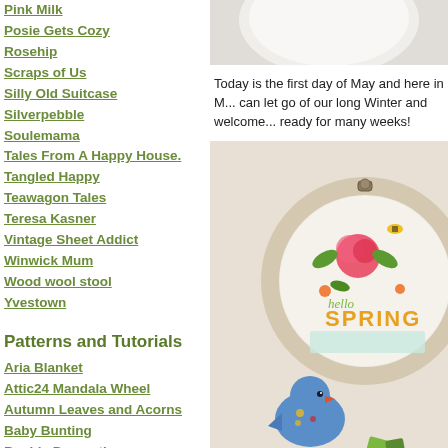Pink Milk
Posie Gets Cozy
Rosehip
Scraps of Us
Silly Old Suitcase
Silverpebble
Soulemama
Tales From A Happy House.
Tangled Happy
Teawagon Tales
Teresa Kasner
Vintage Sheet Addict
Winwick Mum
Wood wool stool
Yvestown
Patterns and Tutorials
Aria Blanket
Attic24 Mandala Wheel
Autumn Leaves and Acorns
Baby Bunting
Bauble Decoration
Birdie Decoration
Blooming Flower Cushion
Bobble-shell Edging
Bower Bird
[Figure (photo): White plate or bowl on light surface, partially cropped]
Today is the first day of May and here in M... can let go of our long Winter and welcome... ready for many weeks!
[Figure (photo): Embroidery hoop with 'hello SPRING' floral design and a small blue ceramic bird figurine below it]